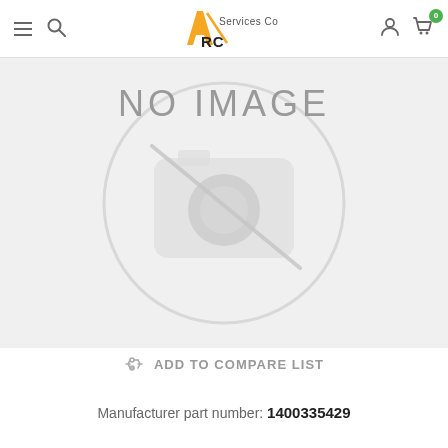[Figure (logo): Arc Services Co. logo with orange/black 'A' and 'RC' text]
[Figure (illustration): No Image placeholder with camera-off icon watermark and text 'NO IMAGE']
ADD TO COMPARE LIST
Manufacturer part number: 1400335429